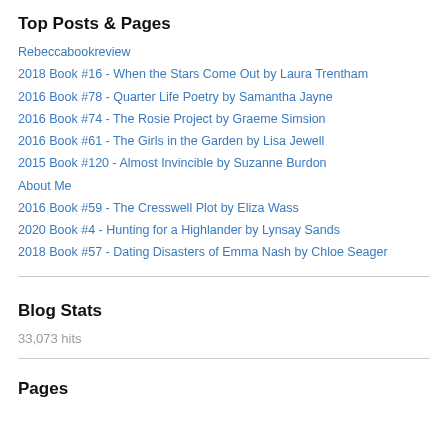Top Posts & Pages
Rebeccabookreview
2018 Book #16 - When the Stars Come Out by Laura Trentham
2016 Book #78 - Quarter Life Poetry by Samantha Jayne
2016 Book #74 - The Rosie Project by Graeme Simsion
2016 Book #61 - The Girls in the Garden by Lisa Jewell
2015 Book #120 - Almost Invincible by Suzanne Burdon
About Me
2016 Book #59 - The Cresswell Plot by Eliza Wass
2020 Book #4 - Hunting for a Highlander by Lynsay Sands
2018 Book #57 - Dating Disasters of Emma Nash by Chloe Seager
Blog Stats
33,073 hits
Pages